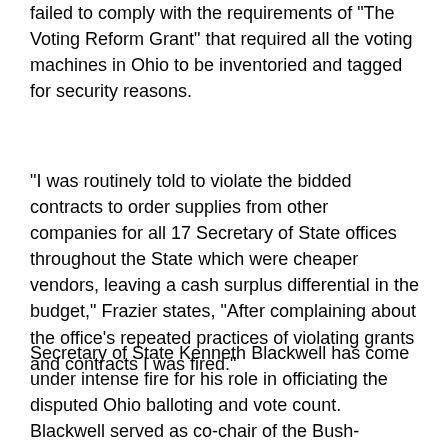failed to comply with the requirements of "The Voting Reform Grant" that required all the voting machines in Ohio to be inventoried and tagged for security reasons.
"I was routinely told to violate the bidded contracts to order supplies from other companies for all 17 Secretary of State offices throughout the State which were cheaper vendors, leaving a cash surplus differential in the budget," Frazier states, "After complaining about the office's repeated practices of violating grants and contracts I was fired."
Secretary of State Kenneth Blackwell has come under intense fire for his role in officiating the disputed Ohio balloting and vote count. Blackwell served as co-chair of the Bush-Cheney campaign while running an election he was overseeing himself.